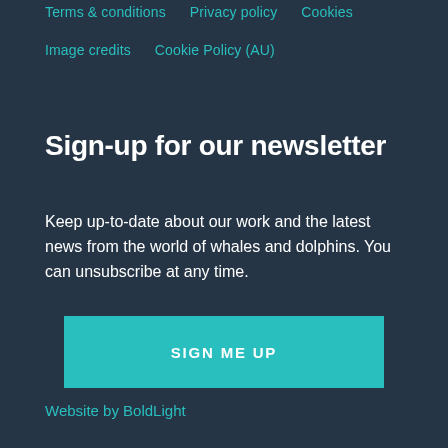Terms & conditions   Privacy policy   Cookies
Image credits   Cookie Policy (AU)
Sign-up for our newsletter
Keep up-to-date about our work and the latest news from the world of whales and dolphins. You can unsubscribe at any time.
SIGN ME UP
Website by BoldLight